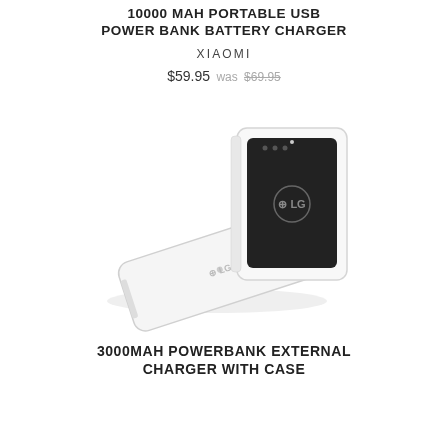10000 MAH PORTABLE USB POWER BANK BATTERY CHARGER
XIAOMI
$59.95 was $69.95
[Figure (photo): LG branded white power bank with case open showing a black battery pack with LG logo, and the white flat power bank device laying flat in front]
3000MAH POWERBANK EXTERNAL CHARGER WITH CASE